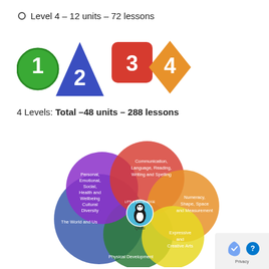Level 4 – 12 units – 72 lessons
[Figure (illustration): Four level icons: 1 (green circle), 2 (blue triangle), 3 (red rounded square), 4 (orange diamond)]
4 Levels: Total –48 units – 288 lessons
[Figure (infographic): Venn diagram with 5 overlapping circles representing curriculum areas: Personal, Emotional, Social, Health and Wellbeing Cultural Diversity (purple); Communication, Language, Reading, Writing and Spelling (red); Numeracy, Shape, Space and Measurement (orange); Expressive and Creative Arts (yellow); The World and Us (blue); Physical Development (green). Center has a penguin mascot logo with 'Qintu' text.]